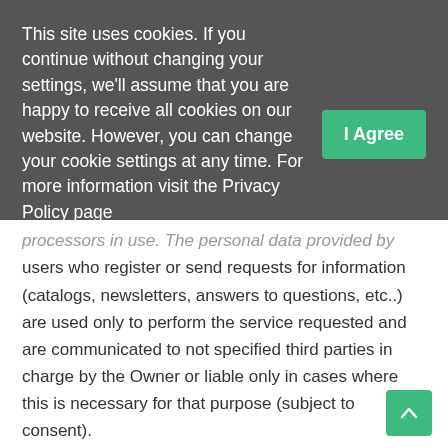This site uses cookies. If you continue without changing your settings, we'll assume that you are happy to receive all cookies on our website. However, you can change your cookie settings at any time. For more information visit the Privacy Policy page
processors in use. The personal data provided by users who register or send requests for information (catalogs, newsletters, answers to questions, etc..) are used only to perform the service requested and are communicated to not specified third parties in charge by the Owner or liable only in cases where this is necessary for that purpose (subject to consent).
NATURE OF DATA PROCESSED
Navigation data.
The computer systems and software procedures used